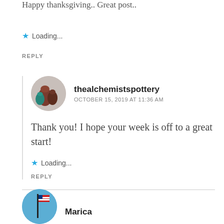Happy thanksgiving.. Great post..
Loading...
REPLY
thealchemistspottery
OCTOBER 15, 2019 AT 11:36 AM
Thank you! I hope your week is off to a great start!
Loading...
REPLY
Marica